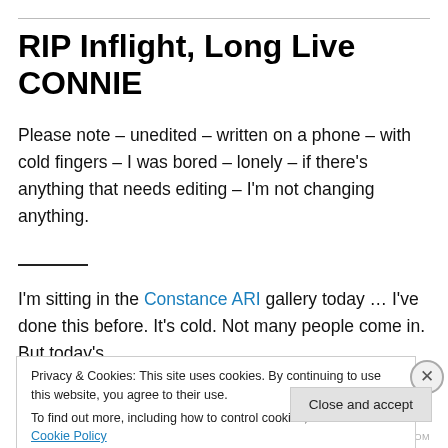RIP Inflight, Long Live CONNIE
Please note – unedited – written on a phone – with cold fingers – I was bored – lonely – if there's anything that needs editing – I'm not changing anything.
I'm sitting in the Constance ARI gallery today … I've done this before. It's cold. Not many people come in. But today's
Privacy & Cookies: This site uses cookies. By continuing to use this website, you agree to their use.
To find out more, including how to control cookies, see here: Cookie Policy
Close and accept